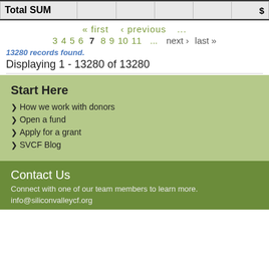|  |  |  |  |  | $ |
| --- | --- | --- | --- | --- | --- |
| Total SUM |  |  |  |  | $ |
« first ‹ previous ...
3 4 5 6 7 8 9 10 11 ... next › last »
13280 records found.
Displaying 1 - 13280 of 13280
Start Here
How we work with donors
Open a fund
Apply for a grant
SVCF Blog
Contact Us
Connect with one of our team members to learn more.
info@siliconvalleycf.org